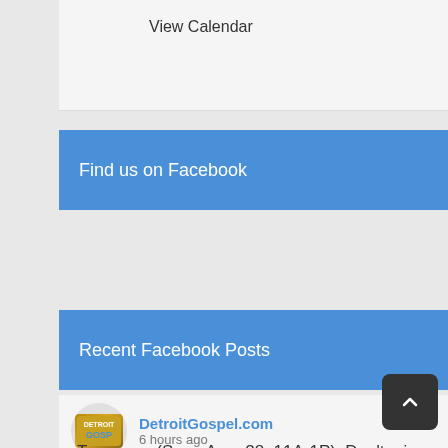View Calendar
Find us on Facebook
Recent Facebook Posts
DetroitGospel.com
6 hours ago
Tomorrow (Sun., Aug. 28, 11A-1P): Don't miss Grace Community Church of Detroit's "Serve Sunday" Back-To-School Giveaway. FREE Backpacks, Petting Zoo, Games, Food, Bounce